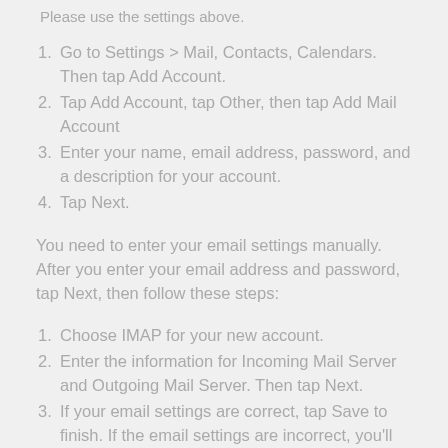Please use the settings above.
1. Go to Settings > Mail, Contacts, Calendars. Then tap Add Account.
2. Tap Add Account, tap Other, then tap Add Mail Account
3. Enter your name, email address, password, and a description for your account.
4. Tap Next.
You need to enter your email settings manually. After you enter your email address and password, tap Next, then follow these steps:
1. Choose IMAP for your new account.
2. Enter the information for Incoming Mail Server and Outgoing Mail Server. Then tap Next.
3. If your email settings are correct, tap Save to finish. If the email settings are incorrect, you'll